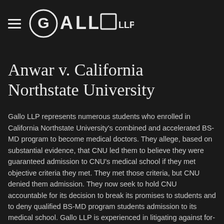GALLO LLP
Anwar v. California Northstate University
Gallo LLP represents numerous students who enrolled in California Northstate University's combined and accelerated BS-MD program to become medical doctors. They allege, based on substantial evidence, that CNU led them to believe they were guaranteed admission to CNU's medical school if they met objective criteria they met. They met those criteria, but CNU denied them admission. They now seek to hold CNU accountable for its decision to break its promises to students and to deny qualified BS-MD program students admission to its medical school. Gallo LLP is experienced in litigating against for-profit school fraud. We've recovered more than $100 million in cash and credits from school and lenders.